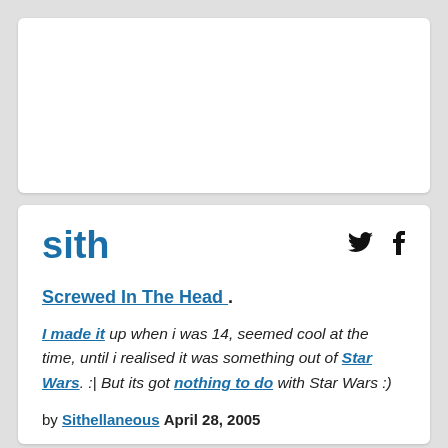[Figure (other): White card with empty white space at top of page]
sith
Screwed In The Head.
I made it up when i was 14, seemed cool at the time, until i realised it was something out of Star Wars. :| But its got nothing to do with Star Wars :)
by Sithellaneous April 28, 2005